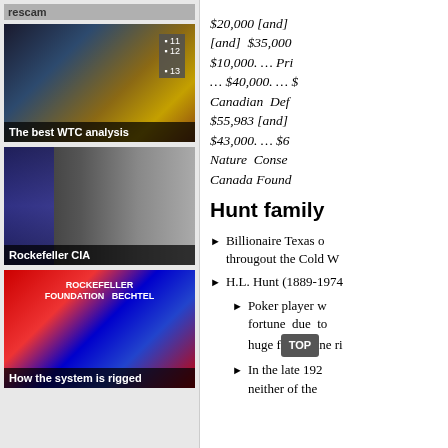[Figure (screenshot): Sidebar with label 'rescam' and three thumbnail images: 'The best WTC analysis', 'Rockefeller CIA', 'How the system is rigged']
$20,000 [and] [and] $35,000 $10,000. ... Pri ... $40,000. ... $ Canadian Def $55,983 [and] $43,000. ... $6 Nature Conse Canada Found
Hunt family
Billionaire Texas o througout the Cold W
H.L. Hunt (1889-1974
Poker player w fortune due to huge fortune ri
In the late 192 neither of the